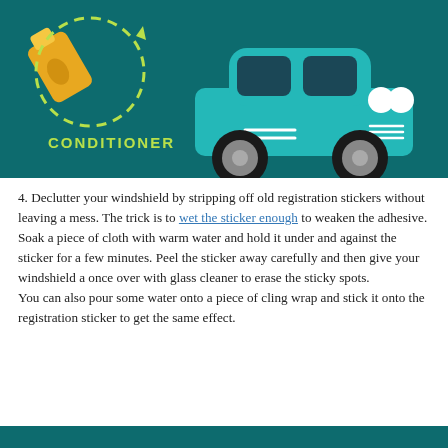[Figure (illustration): Infographic illustration on a dark teal background showing a yellow conditioner bottle with a dashed circular arrow, labeled 'CONDITIONER' in yellow-green text, and a teal vintage-style car on the right side.]
4. Declutter your windshield by stripping off old registration stickers without leaving a mess. The trick is to wet the sticker enough to weaken the adhesive. Soak a piece of cloth with warm water and hold it under and against the sticker for a few minutes. Peel the sticker away carefully and then give your windshield a once over with glass cleaner to erase the sticky spots.
You can also pour some water onto a piece of cling wrap and stick it onto the registration sticker to get the same effect.
[Figure (illustration): Bottom teal bar, partial view of next infographic section.]